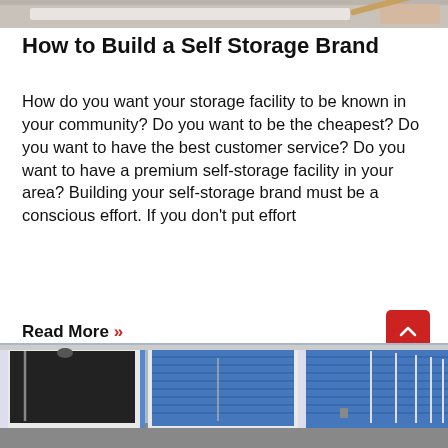[Figure (photo): Partial top of page image, cropped photo background]
How to Build a Self Storage Brand
How do you want your storage facility to be known in your community? Do you want to be the cheapest? Do you want to have the best customer service? Do you want to have a premium self-storage facility in your area? Building your self-storage brand must be a conscious effort. If you don't put effort
Read More »
[Figure (photo): Row of self-storage units with blue corrugated metal roll-up doors, white frames, outdoor facility]